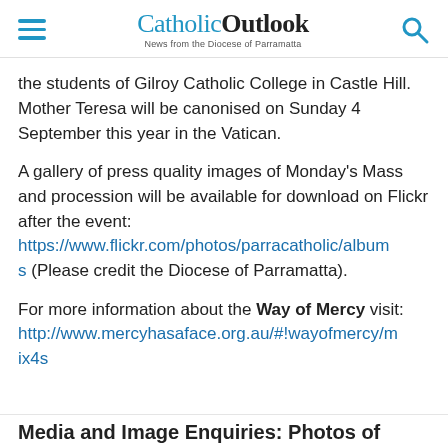CatholicOutlook — News from the Diocese of Parramatta
the students of Gilroy Catholic College in Castle Hill. Mother Teresa will be canonised on Sunday 4 September this year in the Vatican.
A gallery of press quality images of Monday's Mass and procession will be available for download on Flickr after the event: https://www.flickr.com/photos/parracatholic/albums (Please credit the Diocese of Parramatta).
For more information about the Way of Mercy visit: http://www.mercyhasaface.org.au/#!wayofmercy/mix4s
Media and Image Enquiries: Photos of